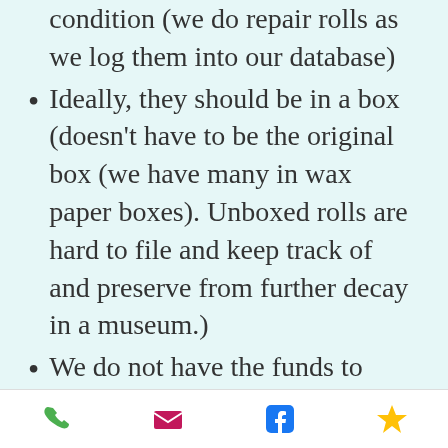condition (we do repair rolls as we log them into our database)
Ideally, they should be in a box (doesn't have to be the original box (we have many in wax paper boxes). Unboxed rolls are hard to file and keep track of and preserve from further decay in a museum.)
We do not have the funds to purchase rolls, but we can pay your postage via Media Mail rates with the USPS.
Phone | Mail | Facebook | Favorites